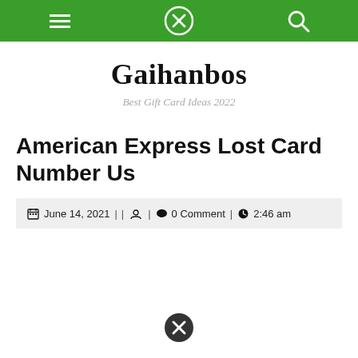Navigation bar with hamburger menu, close button, and search icon
Gaihanbos
Best Gift Card Ideas 2022
American Express Lost Card Number Us
June 14, 2021 | | | 0 Comment | 2:46 am